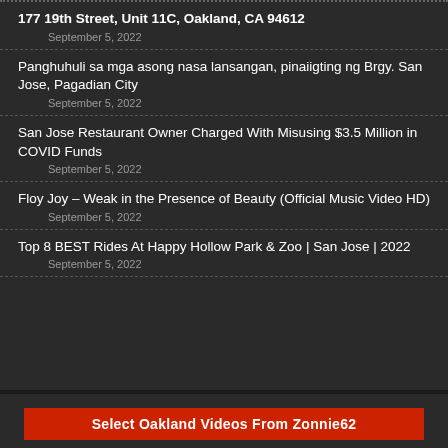177 19th Street, Unit 11C, Oakland, CA 94612
September 5, 2022
Panghuhuli sa mga asong nasa lansangan, pinaiigting ng Brgy. San Jose, Pagadian City
September 5, 2022
San Jose Restaurant Owner Charged With Misusing $3.5 Million in COVID Funds
September 5, 2022
Floy Joy – Weak in the Presence of Beauty (Official Music Video HD)
September 5, 2022
Top 8 BEST Rides At Happy Hollow Park & Zoo | San Jose | 2022
September 5, 2022
Select Oakland Videos From Zonnie62